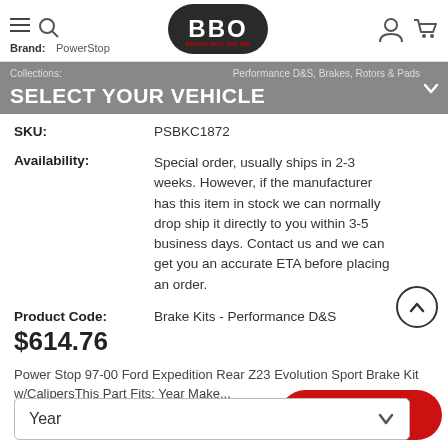Brand: PowerStop | BBO Logo | User icon | Cart icon
SELECT YOUR VEHICLE
Collections: ... Performance D&S, Brakes, Rotors & Pads
| Field | Value |
| --- | --- |
| SKU: | PSBKC1872 |
| Availability: | Special order, usually ships in 2-3 weeks. However, if the manufacturer has this item in stock we can normally drop ship it directly to you within 3-5 business days. Contact us and we can get you an accurate ETA before placing an order. |
| Product Code: | Brake Kits - Performance D&S |
$614.76
Power Stop 97-00 Ford Expedition Rear Z23 Evolution Sport Brake Kit w/CalipersThis Part Fits: Year Make...
Verify fitment with your ve
Year
Chat with us